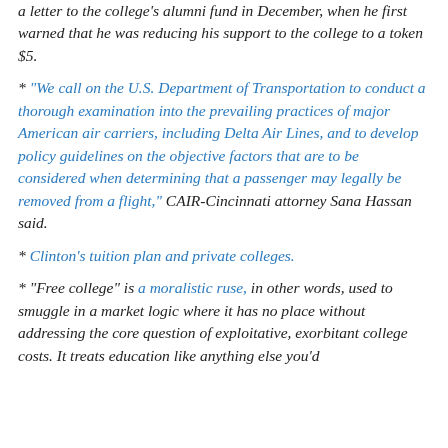a letter to the college's alumni fund in December, when he first warned that he was reducing his support to the college to a token $5.
"We call on the U.S. Department of Transportation to conduct a thorough examination into the prevailing practices of major American air carriers, including Delta Air Lines, and to develop policy guidelines on the objective factors that are to be considered when determining that a passenger may legally be removed from a flight," CAIR-Cincinnati attorney Sana Hassan said.
Clinton's tuition plan and private colleges.
"Free college" is a moralistic ruse, in other words, used to smuggle in a market logic where it has no place without addressing the core question of exploitative, exorbitant college costs. It treats education like anything else you'd